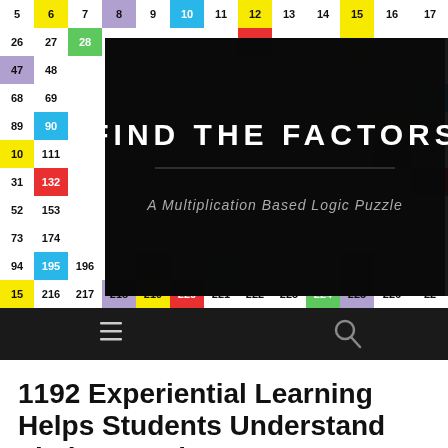[Figure (screenshot): Website header for 'Find the Factors - A Multiplication Based Logic Puzzle' showing a colorful number grid background with a dark overlay containing the site title and subtitle, and a navigation bar with hamburger menu and search icon.]
1192 Experiential Learning Helps Students Understand Their Capacity